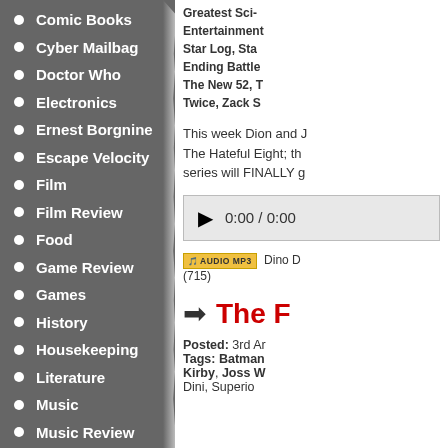Comic Books
Cyber Mailbag
Doctor Who
Electronics
Ernest Borgnine
Escape Velocity
Film
Film Review
Food
Game Review
Games
History
Housekeeping
Literature
Music
Music Review
News
Notes & Chords
Obituaries
Open Letter
Greatest Sci- Entertainment Star Log, Sta Ending Battle The New 52, T Twice, Zack S
This week Dion and J The Hateful Eight; th series will FINALLY g
[Figure (other): Audio player showing 0:00 / 0:00]
Dino D (715)
The F
Posted: 3rd Ar Tags: Batman Kirby, Joss W Dini, Superio